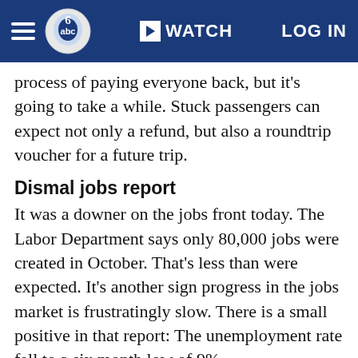WATCH  LOG IN
process of paying everyone back, but it's going to take a while. Stuck passengers can expect not only a refund, but also a roundtrip voucher for a future trip.
Dismal jobs report
It was a downer on the jobs front today. The Labor Department says only 80,000 jobs were created in October. That's less than were expected. It's another sign progress in the jobs market is frustratingly slow. There is a small positive in that report: The unemployment rate fell to a six month low of 9%.
Roupon goes public
Groupon started trading on the NASDAQ today. Shares of the online coupon retailer were priced at $20 a piece and surged by as much as 56% during its trading debut. Groupon